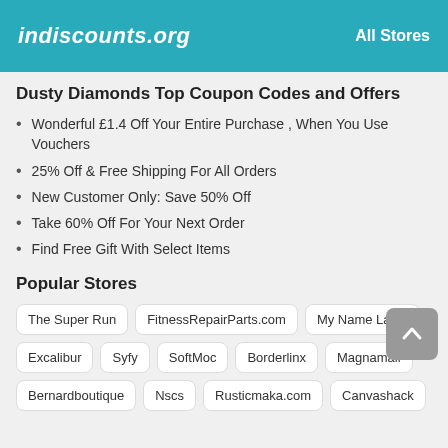indiscounts.org   All Stores
Dusty Diamonds Top Coupon Codes and Offers
Wonderful £1.4 Off Your Entire Purchase , When You Use Vouchers
25% Off & Free Shipping For All Orders
New Customer Only: Save 50% Off
Take 60% Off For Your Next Order
Find Free Gift With Select Items
Popular Stores
The Super Run | FitnessRepairParts.com | My Name Label
Excalibur | Syfy | SoftMoc | Borderlinx | Magnamail
Bernardboutique | Nscs | Rusticmaka.com | Canvashack